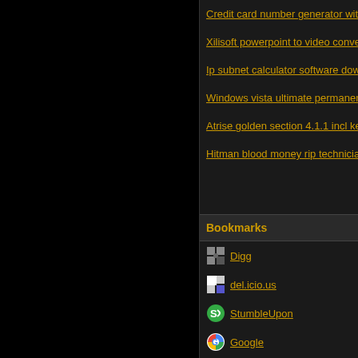Credit card number generator with...
Xilisoft powerpoint to video conver...
Ip subnet calculator software down...
Windows vista ultimate permanen...
Atrise golden section 4.1.1 incl key...
Hitman blood money rip technician...
Bookmarks
Digg
del.icio.us
StumbleUpon
Google